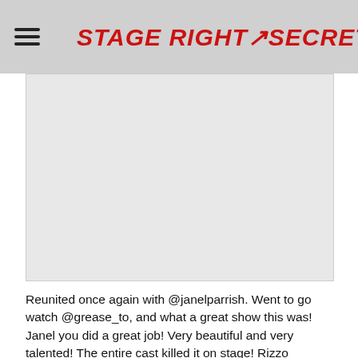STAGE RIGHT SECRETS
[Figure (photo): Photograph placeholder area — large image region showing a scene related to the article]
Reunited once again with @janelparrish. Went to go watch @grease_to, and what a great show this was! Janel you did a great job! Very beautiful and very talented! The entire cast killed it on stage! Rizzo @katicatronica you were flawless! Guys whatever you do, this holiday season go and watch grease at the Winter Elgin Theatre, before it's too late!!! You